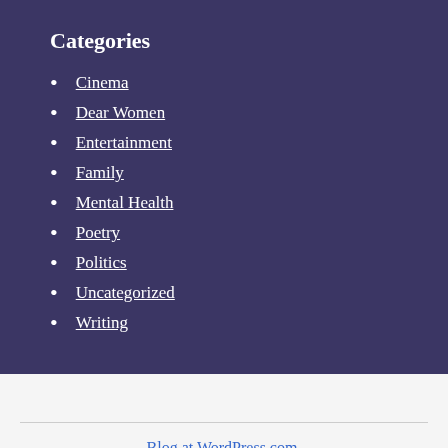Categories
Cinema
Dear Women
Entertainment
Family
Mental Health
Poetry
Politics
Uncategorized
Writing
Blog at WordPress.com.